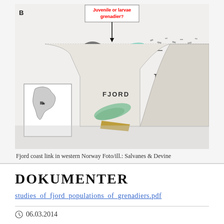[Figure (illustration): Scientific diagram (panel B) showing fjord coast link in western Norway. Cross-section illustration showing FJORD, TERSKEL, and KYST zones with fish/specimen images placed in the fjord area. A label box reads 'Juvenile or larvae grenadier?' with an arrow pointing down. A small inset map of Norway is in the lower-left of the diagram.]
Fjord coast link in western Norway Foto/ill.: Salvanes & Devine
DOKUMENTER
studies_of_fjord_populations_of_grenadiers.pdf
06.03.2014